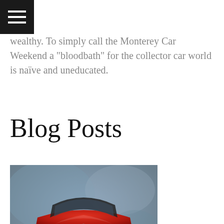[Figure (other): Hamburger menu icon (three horizontal white lines on black background)]
wealthy. To simply call the Monterey Car Weekend a “bloodbath” for the collector car world is naïve and uneducated.
Blog Posts
[Figure (photo): Front view photograph of a red Mercedes-Benz classic car against a blue-grey studio background, showing the distinctive front grille, rectangular headlights with yellow tint, and front bumper spoiler.]